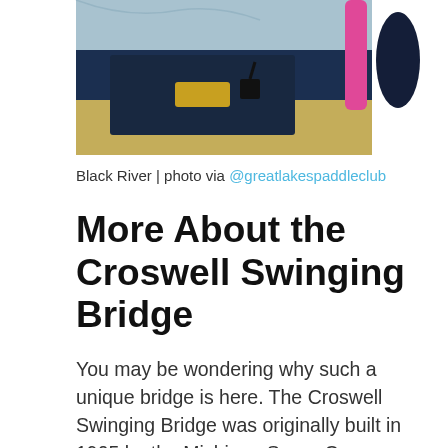[Figure (photo): Top portion of a photo showing kayaking/paddling gear including a pink paddle, dark blue dry bag or kayak, and light blue fabric on a wooden surface. Partially cropped at top.]
Black River | photo via @greatlakespaddleclub
More About the Croswell Swinging Bridge
You may be wondering why such a unique bridge is here. The Croswell Swinging Bridge was originally built in 1905 by the Michigan Sugar Company to help their employees that needed to cross over the Black River.